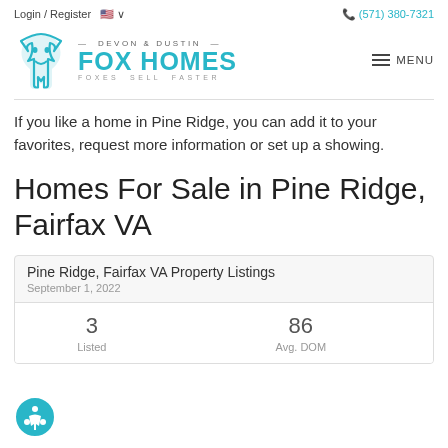Login / Register   (571) 380-7321
[Figure (logo): Devon & Dustin Fox Homes logo with teal fox icon and text 'FOX HOMES — FOXES SELL FASTER']
If you like a home in Pine Ridge, you can add it to your favorites, request more information or set up a showing.
Homes For Sale in Pine Ridge, Fairfax VA
| Pine Ridge, Fairfax VA Property Listings | September 1, 2022 |
| --- | --- |
| 3 | 86 |
| Listed | Avg. DOM |